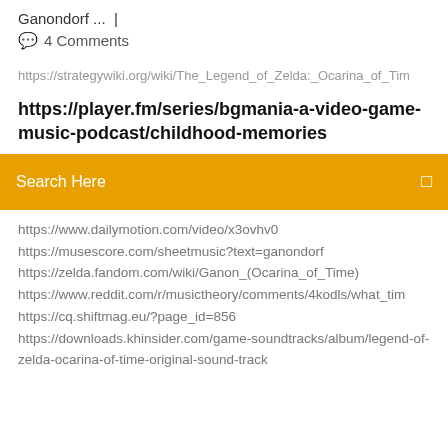Ganondorf ...  |
💬 4 Comments
https://strategywiki.org/wiki/The_Legend_of_Zelda:_Ocarina_of_Tim...
https://player.fm/series/bgmania-a-video-game-music-podcast/childhood-memories
Search Here
https://www.dailymotion.com/video/x3ovhv0
https://musescore.com/sheetmusic?text=ganondorf
https://zelda.fandom.com/wiki/Ganon_(Ocarina_of_Time)
https://www.reddit.com/r/musictheory/comments/4kodls/what_ti...
https://cq.shiftmag.eu/?page_id=856
https://downloads.khinsider.com/game-soundtracks/album/legend-of-zelda-ocarina-of-time-original-sound-track